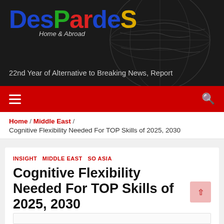[Figure (logo): DesPardas logo with colorful letters on dark background with globe, tagline 'Home & Abroad']
22nd Year of Alternative to Breaking News, Report
Home / Middle East / Cognitive Flexibility Needed For TOP Skills of 2025, 2030
INSIGHT  MIDDLE EAST  SO ASIA
Cognitive Flexibility Needed For TOP Skills of 2025, 2030
October 28, 2020 / DP2020
Read in your language: